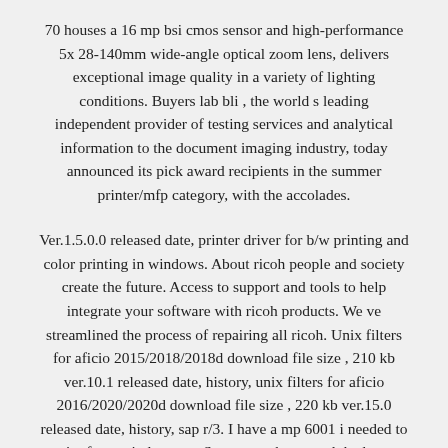70 houses a 16 mp bsi cmos sensor and high-performance 5x 28-140mm wide-angle optical zoom lens, delivers exceptional image quality in a variety of lighting conditions. Buyers lab bli , the world s leading independent provider of testing services and analytical information to the document imaging industry, today announced its pick award recipients in the summer printer/mfp category, with the accolades.
Ver.1.5.0.0 released date, printer driver for b/w printing and color printing in windows. About ricoh people and society create the future. Access to support and tools to help integrate your software with ricoh products. We ve streamlined the process of repairing all ricoh. Unix filters for aficio 2015/2018/2018d download file size , 210 kb ver.10.1 released date, history, unix filters for aficio 2016/2020/2020d download file size , 220 kb ver.15.0 released date, history, sap r/3. I have a mp 6001 i needed to print from windows xp. See screenshots, read the latest